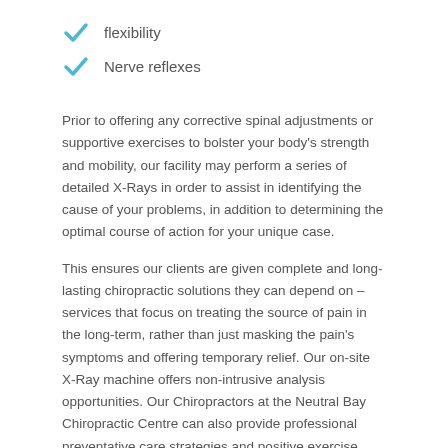flexibility
Nerve reflexes
Prior to offering any corrective spinal adjustments or supportive exercises to bolster your body’s strength and mobility, our facility may perform a series of detailed X-Rays in order to assist in identifying the cause of your problems, in addition to determining the optimal course of action for your unique case.
This ensures our clients are given complete and long-lasting chiropractic solutions they can depend on – services that focus on treating the source of pain in the long-term, rather than just masking the pain’s symptoms and offering temporary relief. Our on-site X-Ray machine offers non-intrusive analysis opportunities. Our Chiropractors at the Neutral Bay Chiropractic Centre can also provide professional preventative care strategies and positive exercise options in order to help improve your posture, decrease stress levels, and maintain your wellbeing through healthy and nutritional diet suggestions.